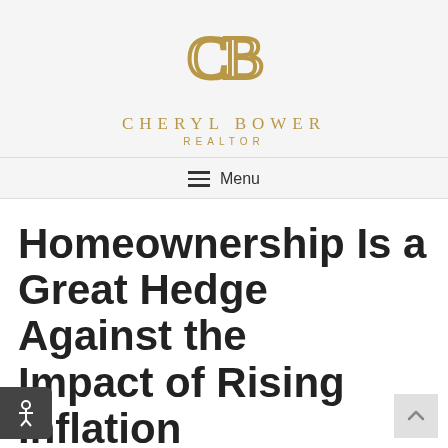[Figure (logo): CB Cheryl Bower Realtor logo with gold interlocking C and B letters above the text CHERYL BOWER REALTOR]
Menu
Homeownership Is a Great Hedge Against the Impact of Rising Inflation
By Cheryl Bower | June 23, 2022